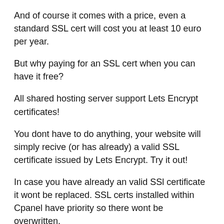And of course it comes with a price, even a standard SSL cert will cost you at least 10 euro per year.
But why paying for an SSL cert when you can have it free?
All shared hosting server support Lets Encrypt certificates!
You dont have to do anything, your website will simply recive (or has already) a valid SSL certificate issued by Lets Encrypt. Try it out!
In case you have already an valid SSl certificate it wont be replaced. SSL certs installed within Cpanel have priority so there wont be overwritten.
The SSL cert will be automaticly installed and renewed by the system, there is nothing you need to do.
If you have any further questions please contact our support